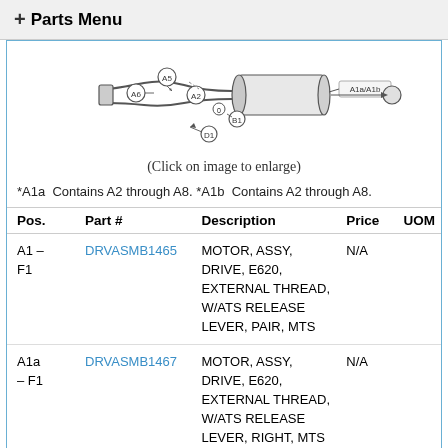+ Parts Menu
[Figure (engineering-diagram): Exploded engineering diagram of a drive motor assembly showing components labeled A1a, A1b, A2, A5, A6, B1, D1 with arrows indicating assembly positions]
(Click on image to enlarge)
*A1a  Contains A2 through A8. *A1b  Contains A2 through A8.
| Pos. | Part # | Description | Price | UOM |
| --- | --- | --- | --- | --- |
| A1 – F1 | DRVASMB1465 | MOTOR, ASSY, DRIVE, E620, EXTERNAL THREAD, W/ATS RELEASE LEVER, PAIR, MTS | N/A |  |
| A1a – F1 | DRVASMB1467 | MOTOR, ASSY, DRIVE, E620, EXTERNAL THREAD, W/ATS RELEASE LEVER, RIGHT, MTS | N/A |  |